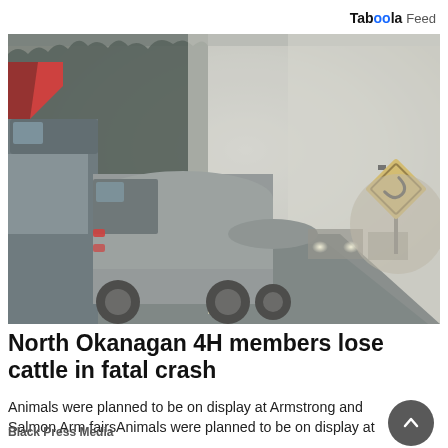Taboola Feed
[Figure (photo): Smoky highway scene with large tanker trucks backed up on a road lined with tall conifer trees. Thick smoke or fog obscures visibility. A diamond-shaped road sign is visible on the right side. Headlights of vehicles are visible in the distance through the haze.]
North Okanagan 4H members lose cattle in fatal crash
Animals were planned to be on display at Armstrong and Salmon Arm fairsAnimals were planned to be on display at …
Black Press Media